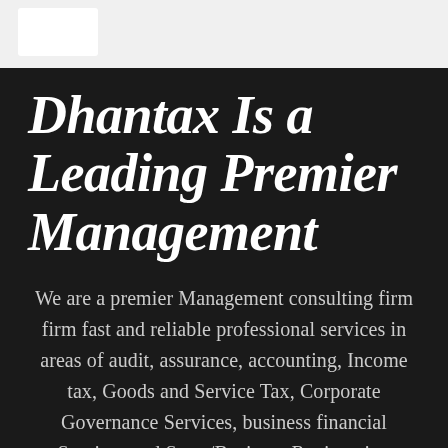Dhantax Is a Leading Premier Management
We are a premier Management consulting firm firm fast and reliable professional services in areas of audit, assurance, accounting, Income tax, Goods and Service Tax, Corporate Governance Services, business financial Services and Start /Business Registration incorporatio...